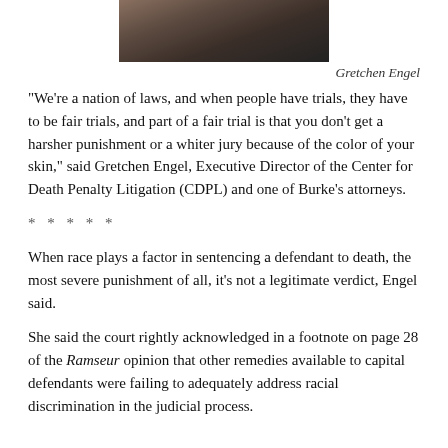[Figure (photo): Partial photo of a person (Gretchen Engel) showing hair and neckline, cropped at top of page]
Gretchen Engel
“We’re a nation of laws, and when people have trials, they have to be fair trials, and part of a fair trial is that you don’t get a harsher punishment or a whiter jury because of the color of your skin,” said Gretchen Engel, Executive Director of the Center for Death Penalty Litigation (CDPL) and one of Burke’s attorneys.
* * * * *
When race plays a factor in sentencing a defendant to death, the most severe punishment of all, it’s not a legitimate verdict, Engel said.
She said the court rightly acknowledged in a footnote on page 28 of the Ramseur opinion that other remedies available to capital defendants were failing to adequately address racial discrimination in the judicial process.